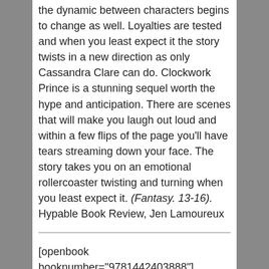the dynamic between characters begins to change as well.  Loyalties are tested and when you least expect it the story twists in a new direction as only Cassandra Clare can do.  Clockwork Prince is a stunning sequel worth the hype and anticipation.  There are scenes that will make you laugh out loud and within a few flips of the page you'll have tears streaming down your face.  The story takes you on an emotional rollercoaster twisting and turning when you least expect it. (Fantasy. 13-16). Hypable Book Review, Jen Lamoureux
[openbook booknumber="9781442403888"]